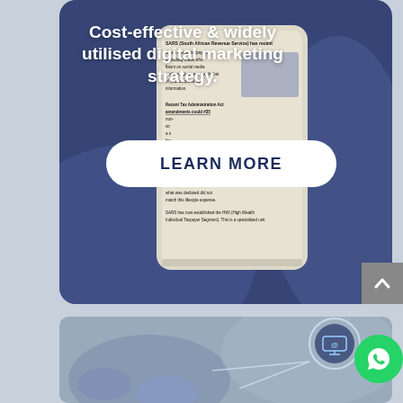[Figure (photo): A person holding a smartphone showing a SARS (South African Revenue Service) tax article, overlaid with dark blue semi-transparent background. White bold text reads 'Cost-effective & widely utilised digital marketing strategy.' with a white 'LEARN MORE' button in the center.]
Cost-effective & widely utilised digital marketing strategy.
[Figure (photo): Partial view of a digital marketing themed image showing network/communication icons including an @ symbol in a circle and interconnected lines, with a blurred background of people.]